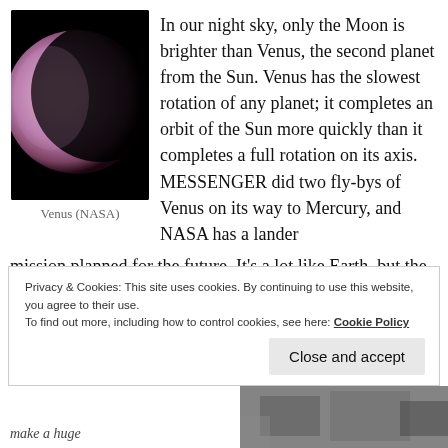[Figure (photo): Photo of Venus from NASA, showing the planet as a crescent with pinkish-purple hues against black space]
Venus (NASA)
In our night sky, only the Moon is brighter than Venus, the second planet from the Sun. Venus has the slowest rotation of any planet; it completes an orbit of the Sun more quickly than it completes a full rotation on its axis. MESSENGER did two fly-bys of Venus on its way to Mercury, and NASA has a lander mission planned for the future. It’s a lot like Earth, but the surface is drier and much hotter, with an atmospheric pressure 92 times that of Earth.
Privacy & Cookies: This site uses cookies. By continuing to use this website, you agree to their use.
To find out more, including how to control cookies, see here: Cookie Policy
Close and accept
make a huge
[Figure (photo): Partial image at bottom right, appears to be a grayscale surface or landscape photo]